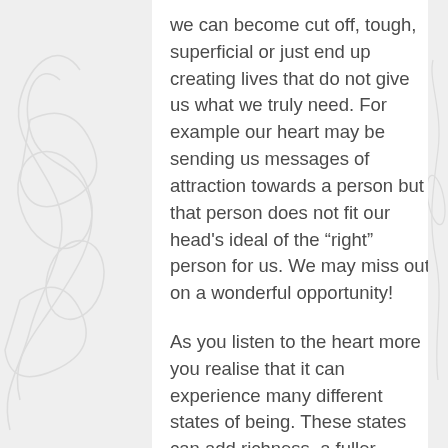we can become cut off, tough, superficial or just end up creating lives that do not give us what we truly need. For example our heart may be sending us messages of attraction towards a person but that person does not fit our head's ideal of the "right" person for us. We may miss out on a wonderful opportunity!

As you listen to the heart more you realise that it can experience many different states of being. These states can add richness, a fuller dimension to life. The heart knows joy, passion, tenderness, innocence, wonder, yearning, delight, devotion, gratitude, compassion. To taste at